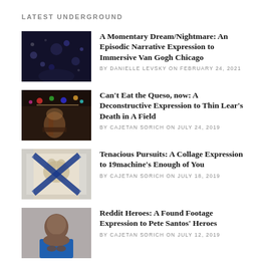LATEST UNDERGROUND
[Figure (photo): Dark moody scene with bokeh lights, appears to be an immersive Van Gogh exhibition]
A Momentary Dream/Nightmare: An Episodic Narrative Expression to Immersive Van Gogh Chicago
BY DANIELLE LEVSKY ON FEBRUARY 24, 2021
[Figure (photo): Female musician performing on stage with colorful string lights in background]
Can't Eat the Queso, now: A Deconstructive Expression to Thin Lear's Death in A Field
BY CAJETAN SORICH ON JULY 24, 2019
[Figure (photo): Collage artwork featuring a cat with blue X tape cross over it]
Tenacious Pursuits: A Collage Expression to 19machine's Enough of You
BY CAJETAN SORICH ON JULY 18, 2019
[Figure (photo): Portrait of a man in a blue shirt with hands clasped, against grey background]
Reddit Heroes: A Found Footage Expression to Pete Santos' Heroes
BY CAJETAN SORICH ON JULY 12, 2019